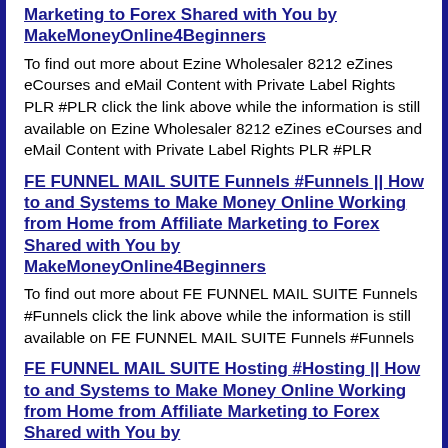Marketing to Forex Shared with You by MakeMoneyOnline4Beginners
To find out more about Ezine Wholesaler 8212 eZines eCourses and eMail Content with Private Label Rights PLR #PLR click the link above while the information is still available on Ezine Wholesaler 8212 eZines eCourses and eMail Content with Private Label Rights PLR #PLR
FE FUNNEL MAIL SUITE Funnels #Funnels || How to and Systems to Make Money Online Working from Home from Affiliate Marketing to Forex Shared with You by MakeMoneyOnline4Beginners
To find out more about FE FUNNEL MAIL SUITE Funnels #Funnels click the link above while the information is still available on FE FUNNEL MAIL SUITE Funnels #Funnels
FE FUNNEL MAIL SUITE Hosting #Hosting || How to and Systems to Make Money Online Working from Home from Affiliate Marketing to Forex Shared with You by